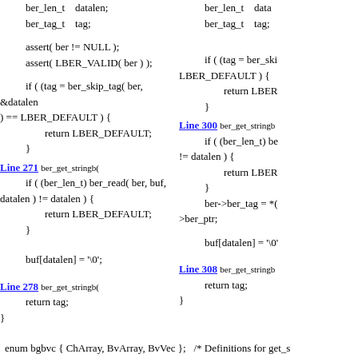ber_len_t    datalen;
ber_tag_t    tag;
assert( ber != NULL );
assert( LBER_VALID( ber ) );
if ( (tag = ber_skip_tag( ber, &datalen )) == LBER_DEFAULT ) {
        return LBER_DEFAULT;
    }
Line 271 ber_get_stringb(
    if ( (ber_len_t) ber_read( ber, buf, datalen ) != datalen ) {
            return LBER_DEFAULT;
        }
buf[datalen] = '\0';
Line 278 ber_get_stringb(
    return tag;
}
ber_len_t    data
ber_tag_t    tag;
if ( (tag = ber_ski
LBER_DEFAULT ) {
        return LBER
    }
Line 300 ber_get_stringb
    if ( (ber_len_t) be
!= datalen ) {
        return LBER
    }
    ber->ber_tag = *(
>ber_ptr;
buf[datalen] = '\0'
Line 308 ber_get_stringb
    return tag;
}
enum bgbvc { ChArray, BvArray, BvVec };    /* Definitions for get_s